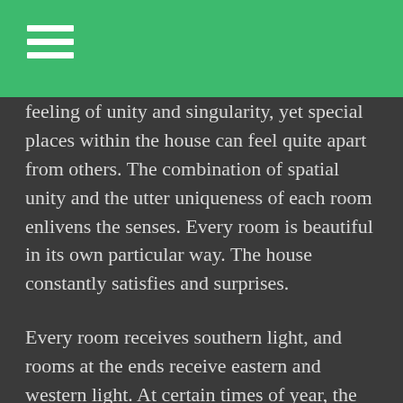[hamburger menu icon]
feeling of unity and singularity, yet special places within the house can feel quite apart from others. The combination of spatial unity and the utter uniqueness of each room enlivens the senses. Every room is beautiful in its own particular way. The house constantly satisfies and surprises.
Every room receives southern light, and rooms at the ends receive eastern and western light. At certain times of year, the setting sun moves through the entire length of the house and hits a corner at the other end. There is beautiful changing light during the day, and the old glass makes shimmering reflections on the walls. The third floor feels completely separate from the rest of the house, like an aerie in the treetops, birds...